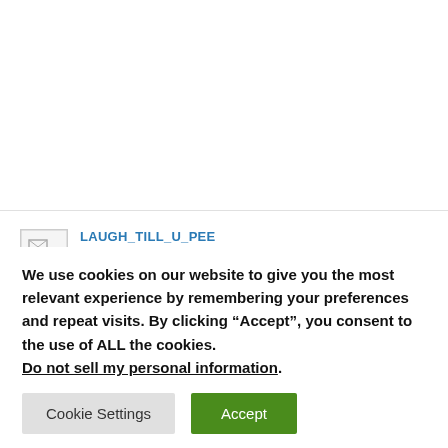[Figure (other): White content area at top of page (truncated blog/article content)]
LAUGH_TILL_U_PEE
MARCH 9, 2022 AT 10:37 PM
In iPhone gamepad is missing
We use cookies on our website to give you the most relevant experience by remembering your preferences and repeat visits. By clicking “Accept”, you consent to the use of ALL the cookies. Do not sell my personal information.